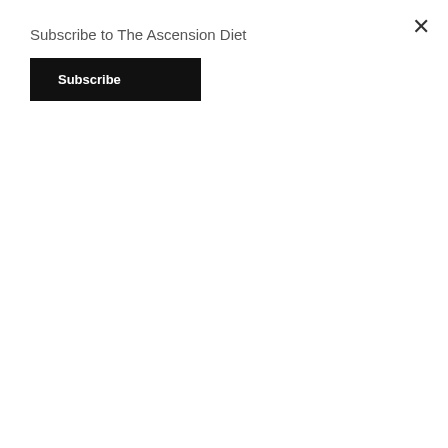Subscribe to The Ascension Diet
Subscribe
nano nanobots nanotechnology nanotechnology and synthetic biology narcissism narcissist narrative NASA NASA lies National Public Radio natural natural flavoring Natural News nature naturopath Nebro Nemesis Nephilim nephilim world rulers New Age New Age psyop new earth news new world order New York New York City Nibiru NIBIRU IS HERE Nibiru the Destroyer nichole Ninevah NOAA no fear non-GMO Northern Lights NPR Nuremburg Code nurse nutrition NWO NYC NYC the